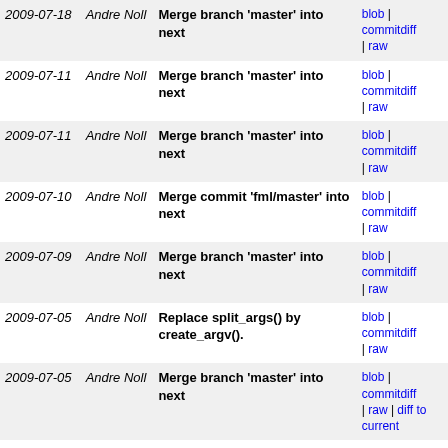| Date | Author | Commit message | Links |
| --- | --- | --- | --- |
| 2009-07-18 | Andre Noll | Merge branch 'master' into next | blob | commitdiff | raw |
| 2009-07-11 | Andre Noll | Merge branch 'master' into next | blob | commitdiff | raw |
| 2009-07-11 | Andre Noll | Merge branch 'master' into next | blob | commitdiff | raw |
| 2009-07-10 | Andre Noll | Merge commit 'fml/master' into next | blob | commitdiff | raw |
| 2009-07-09 | Andre Noll | Merge branch 'master' into next | blob | commitdiff | raw |
| 2009-07-05 | Andre Noll | Replace split_args() by create_argv(). | blob | commitdiff | raw |
| 2009-07-05 | Andre Noll | Merge branch 'master' into next | blob | commitdiff | raw | diff to current |
| 2009-07-04 | Andre Noll | Merge branch 'master' into next | blob | commitdiff | raw | diff to current |
| 2009-07-04 | Andre Noll | command_util: Generate properly documented command... | blob | commitdiff | raw | diff to current |
| 2009-07-04 | Andre Noll | Merge branch 'afh_cleanup' into next. | blob | commitdiff | raw | diff to current |
| 2009-07-04 | Andre Noll | Merge branch 'crypt' into next | blob | commitdiff | raw | diff to current |
| 2009-06-14 | Andre Noll | Make rc4 encryption/decryption more explicit. | blob | commitdiff | raw | diff to current |
| 2009-06-11 | Andre Noll | Add osl.h include to generated command C files. | blob | commitdiff | raw | diff to current |